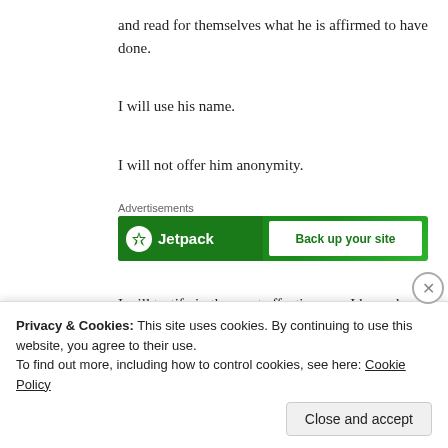and read for themselves what he is affirmed to have done.
I will use his name.
I will not offer him anonymity.
[Figure (screenshot): Jetpack advertisement banner with green background showing Jetpack logo and 'Back up your site' call to action]
I will testify in the most effective way I know how, and I will pray.
Privacy & Cookies: This site uses cookies. By continuing to use this website, you agree to their use.
To find out more, including how to control cookies, see here: Cookie Policy